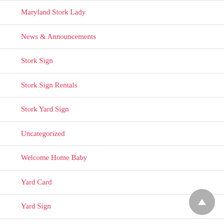Maryland Stork Lady
News & Announcements
Stork Sign
Stork Sign Rentals
Stork Yard Sign
Uncategorized
Welcome Home Baby
Yard Card
Yard Sign